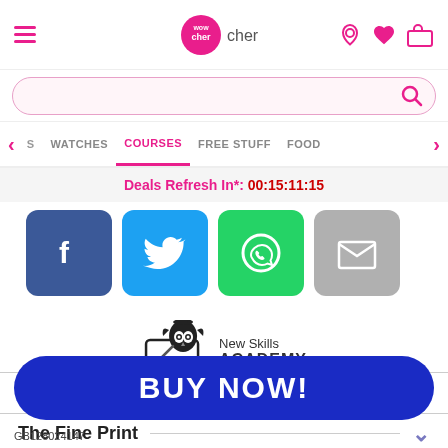[Figure (screenshot): Wowcher mobile app header with hamburger menu, logo, and icons (location, heart, cart)]
[Figure (screenshot): Pink search bar with magnifying glass icon]
[Figure (screenshot): Navigation menu with categories: S, WATCHES, COURSES (active), FREE STUFF, FOOD]
Deals Refresh In*: 00:15:11:15
[Figure (screenshot): Social sharing buttons: Facebook, Twitter, WhatsApp, Email]
[Figure (logo): New Skills Academy logo with owl on laptop graphic]
How To Redeem
The Fine Print
[Figure (screenshot): BUY NOW! blue button]
GB128024147